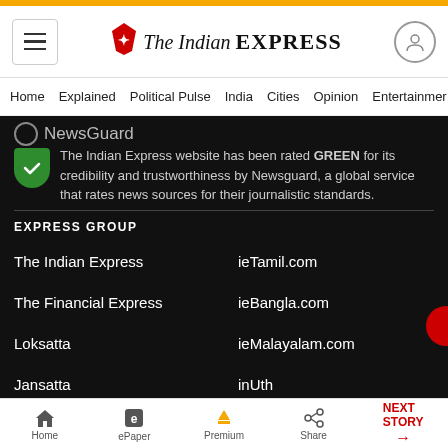The Indian Express
Home  Explained  Political Pulse  India  Cities  Opinion  Entertainment
Newsguard
The Indian Express website has been rated GREEN for its credibility and trustworthiness by Newsguard, a global service that rates news sources for their journalistic standards.
EXPRESS GROUP
The Indian Express
ieTamil.com
The Financial Express
ieBangla.com
Loksatta
ieMalayalam.com
Jansatta
inUth
Home  ePaper  Premium  Share  NEXT STORY